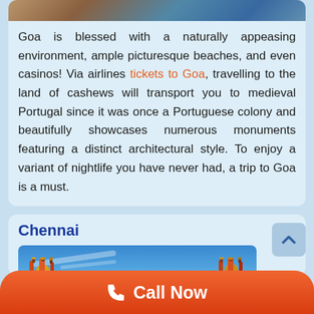[Figure (photo): Partial view of a beach/coastal scene with rocks, shown as a cropped strip at the top of the Goa card]
Goa is blessed with a naturally appeasing environment, ample picturesque beaches, and even casinos! Via airlines tickets to Goa, travelling to the land of cashews will transport you to medieval Portugal since it was once a Portuguese colony and beautifully showcases numerous monuments featuring a distinct architectural style. To enjoy a variant of nightlife you have never had, a trip to Goa is a must.
Chennai
[Figure (photo): Photo of colorful temple statues/chariots against a blue sky, associated with Chennai]
[Figure (other): Scroll-up/back-to-top button with upward chevron arrow]
[Figure (other): Orange Call Now button with phone icon]